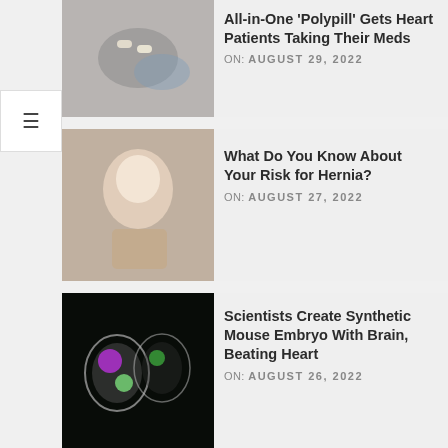[Figure (photo): Hands holding pills and a glass of water]
All-in-One 'Polypill' Gets Heart Patients Taking Their Meds
ON:  AUGUST 29, 2022
[Figure (photo): Woman holding her abdomen in pain, lying down]
What Do You Know About Your Risk for Hernia?
ON:  AUGUST 27, 2022
[Figure (photo): Fluorescent microscopy image of synthetic mouse embryo with glowing cells]
Scientists Create Synthetic Mouse Embryo With Brain, Beating Heart
ON:  AUGUST 26, 2022
GENERAL HEALTH
[Figure (photo): Mother holding a baby]
Child ER Visits for Swallowed Button Batteries Doubled in a Decade
ON:  AUGUST 29, 2022